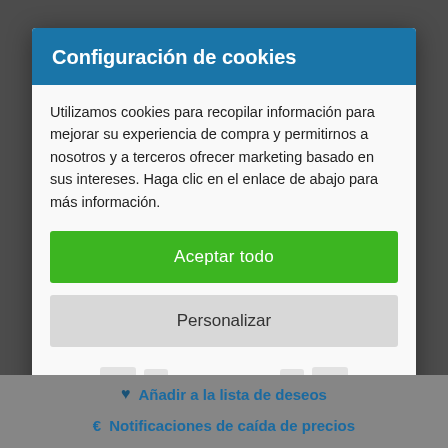Configuración de cookies
Utilizamos cookies para recopilar información para mejorar su experiencia de compra y permitirnos a nosotros y a terceros ofrecer marketing basado en sus intereses. Haga clic en el enlace de abajo para más información.
Aceptar todo
Personalizar
Más información
Añadir a la lista de deseos
Notificaciones de caída de precios